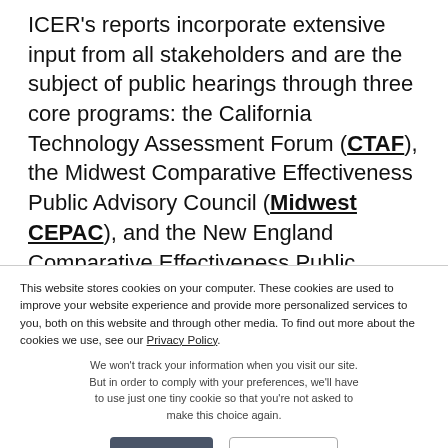ICER's reports incorporate extensive input from all stakeholders and are the subject of public hearings through three core programs: the California Technology Assessment Forum (CTAF), the Midwest Comparative Effectiveness Public Advisory Council (Midwest CEPAC), and the New England Comparative Effectiveness Public Advisory
This website stores cookies on your computer. These cookies are used to improve your website experience and provide more personalized services to you, both on this website and through other media. To find out more about the cookies we use, see our Privacy Policy.
We won't track your information when you visit our site. But in order to comply with your preferences, we'll have to use just one tiny cookie so that you're not asked to make this choice again.